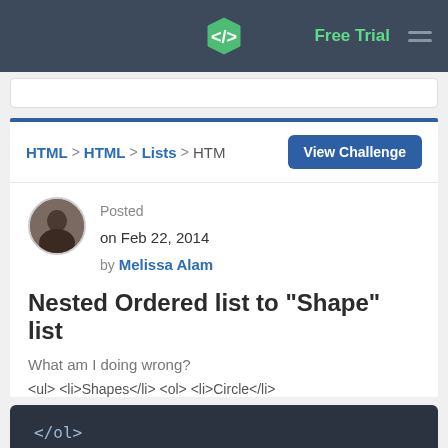Free Trial
HTML > HTML > Lists > HTM
View Challenge
Posted on Feb 22, 2014 by Melissa Alam
Nested Ordered list to "Shape" list
What am I doing wrong?
<ul> <li>Shapes</li> <ol> <li>Circle</li>
[Figure (screenshot): Dark code block showing HTML code: </ol> on first line and <li>Colors</li> below]
</ol>
<li>Colors</li>